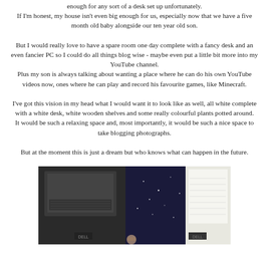enough for any sort of a desk set up unfortunately. If I'm honest, my house isn't even big enough for us, especially now that we have a five month old baby alongside our ten year old son.
But I would really love to have a spare room one day complete with a fancy desk and an even fancier PC so I could do all things blog wise - maybe even put a little bit more into my YouTube channel. Plus my son is always talking about wanting a place where he can do his own YouTube videos now, ones where he can play and record his favourite games, like Minecraft.
I've got this vision in my head what I would want it to look like as well, all white complete with a white desk, white wooden shelves and some really colourful plants potted around. It would be such a relaxing space and, most importantly, it would be such a nice space to take blogging photographs.
But at the moment this is just a dream but who knows what can happen in the future.
[Figure (photo): Photo of books, notebooks, a laptop, and desk items arranged on a white surface, partially visible at the bottom of the page.]